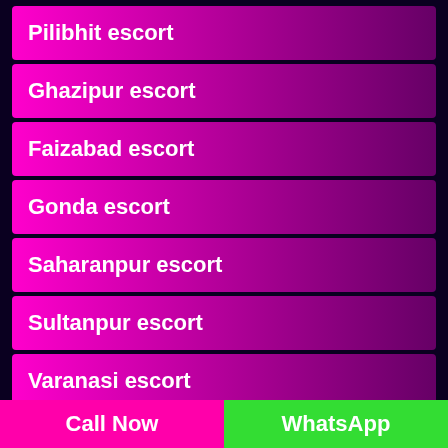Pilibhit escort
Ghazipur escort
Faizabad escort
Gonda escort
Saharanpur escort
Sultanpur escort
Varanasi escort
Shamli escort
Pratapgarh escort
Call Now   WhatsApp